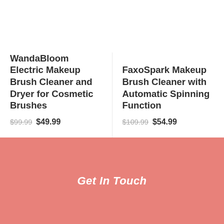WandaBloom Electric Makeup Brush Cleaner and Dryer for Cosmetic Brushes
$99.99 $49.99
FaxoSpark Makeup Brush Cleaner with Automatic Spinning Function
$109.99 $54.99
Get In Touch